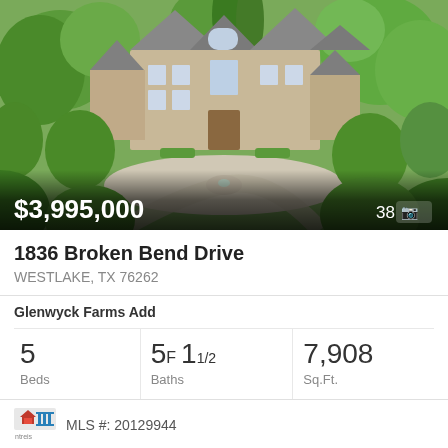[Figure (photo): Aerial view of a large stone manor house with slate roof, multiple gables, surrounded by mature green trees and manicured landscaping, circular driveway visible]
$3,995,000
38 📷
1836 Broken Bend Drive
WESTLAKE, TX 76262
Glenwyck Farms Add
| Beds | Baths | Sq.Ft. |
| --- | --- | --- |
| 5 | 5F 11/2 | 7,908 |
MLS #: 20129944
[Figure (photo): Partial view of another listing showing rooftop at dusk with purple/pink sky, heart icon visible at bottom right]